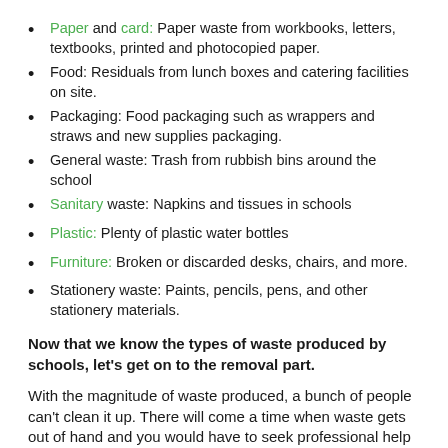Paper and card: Paper waste from workbooks, letters, textbooks, printed and photocopied paper.
Food: Residuals from lunch boxes and catering facilities on site.
Packaging: Food packaging such as wrappers and straws and new supplies packaging.
General waste: Trash from rubbish bins around the school
Sanitary waste: Napkins and tissues in schools
Plastic: Plenty of plastic water bottles
Furniture: Broken or discarded desks, chairs, and more.
Stationery waste: Paints, pencils, pens, and other stationery materials.
Now that we know the types of waste produced by schools, let’s get on to the removal part.
With the magnitude of waste produced, a bunch of people can’t clean it up. There will come a time when waste gets out of hand and you would have to seek professional help from a local junk hauling service in